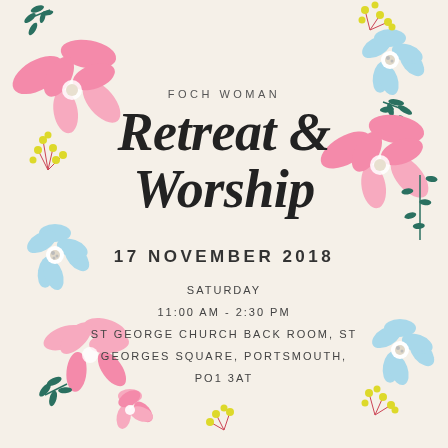[Figure (illustration): Decorative floral border with pink, light blue, teal and yellow flowers and foliage surrounding the page edges]
FOCH WOMAN
Retreat & Worship
17 NOVEMBER 2018
SATURDAY
11:00 AM - 2:30 PM
ST GEORGE CHURCH BACK ROOM, ST GEORGES SQUARE, PORTSMOUTH, PO1 3AT